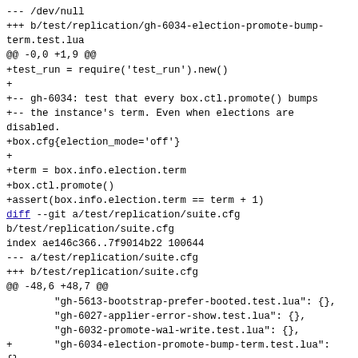--- /dev/null
+++ b/test/replication/gh-6034-election-promote-bump-term.test.lua
@@ -0,0 +1,9 @@
+test_run = require('test_run').new()
+
+-- gh-6034: test that every box.ctl.promote() bumps
+-- the instance's term. Even when elections are disabled.
+box.cfg{election_mode='off'}
+
+term = box.info.election.term
+box.ctl.promote()
+assert(box.info.election.term == term + 1)
diff --git a/test/replication/suite.cfg b/test/replication/suite.cfg
index ae146c366..7f9014b22 100644
--- a/test/replication/suite.cfg
+++ b/test/replication/suite.cfg
@@ -48,6 +48,7 @@
        "gh-5613-bootstrap-prefer-booted.test.lua": {},
        "gh-6027-applier-error-show.test.lua": {},
        "gh-6032-promote-wal-write.test.lua": {},
+       "gh-6034-election-promote-bump-term.test.lua": {},
        "gh-6057-qsync-confirm-async-no-wal.test.lua": {},
        "gh-6094-rs-uuid-mismatch.test.lua": {},
        "gh-6127-election-join-new.test.lua": {},
--
2.30.1 (Apple Git-130)